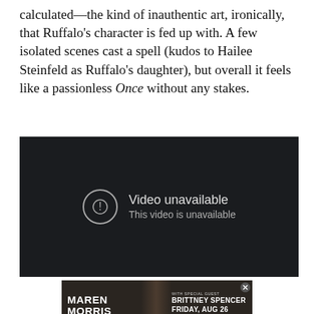calculated—the kind of inauthentic art, ironically, that Ruffalo's character is fed up with. A few isolated scenes cast a spell (kudos to Hailee Steinfeld as Ruffalo's daughter), but overall it feels like a passionless Once without any stakes.
[Figure (screenshot): YouTube-style video player showing 'Video unavailable / This video is unavailable' message on a dark background]
[Figure (photo): Advertisement for Maren Morris Humble Quest Tour with special guest Brittney Spencer, Friday Aug 26, Hayden Homes Amphitheater, Live Nation]